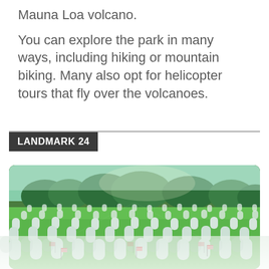Mauna Loa volcano.
You can explore the park in many ways, including hiking or mountain biking. Many also opt for helicopter tours that fly over the volcanoes.
LANDMARK 24
[Figure (photo): Rows of white gravestones in a military cemetery (Arlington National Cemetery), with small American flags placed at the bases of the headstones on a sunny day with green grass and trees in the background.]